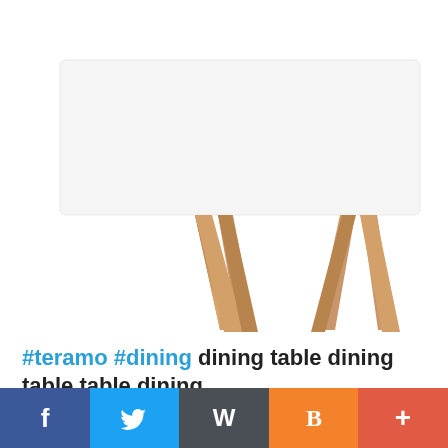[Figure (logo): Three stacked pill/capsule shapes: blue on top, magenta/pink in middle, yellow on bottom — forming a logo mark]
[Figure (photo): A white dining table seen from below/side angle, showing four tapered natural wood legs against a white background]
#teramo #dining dining table dining table table dining
[Figure (infographic): Social sharing bar with five buttons: Facebook (dark blue, f icon), Twitter (light blue, bird icon), WordPress (dark grey, W icon), Blogger (orange, B icon), Plus/Add (red-orange, + icon)]